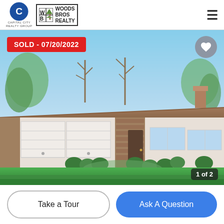Capital City Realty Group | Woods Bros Realty
[Figure (photo): Exterior photo of a single-story ranch-style house with a two-car garage, brick facade, manicured lawn and shrubs, sunny day with blue sky. Overlaid with 'SOLD - 07/20/2022' badge and '1 of 2' counter.]
Take a Tour
Ask A Question